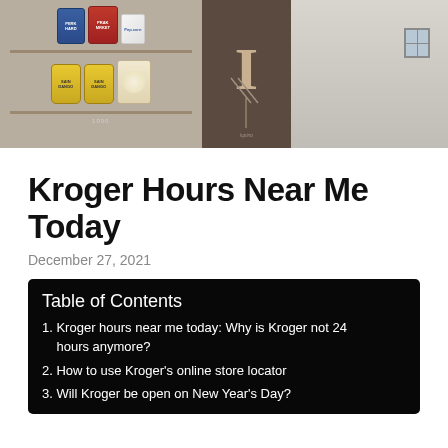[Figure (photo): Hero image showing a convenience store snack display on the left with chip bags and packaged goods on shelves, a middle panel showing a dark store entrance or kiosk with a large letter 'I', and a right panel showing an exterior building facade with a window.]
Kroger Hours Near Me Today
December 27, 2021
Table of Contents
1. Kroger hours near me today: Why is Kroger not 24 hours anymore?
2. How to use Kroger's online store locator
3. Will Kroger be open on New Year's Day?